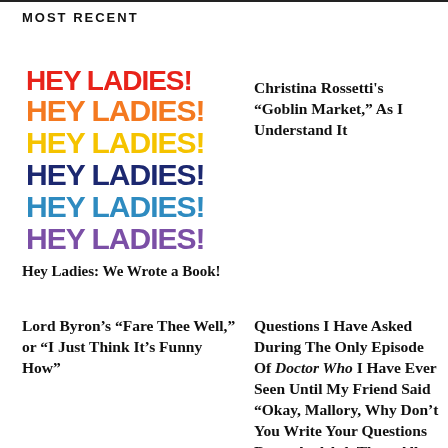MOST RECENT
[Figure (illustration): Book cover for Hey Ladies showing the text HEY LADIES! repeated in multiple colors: red, orange, yellow, dark blue, blue, purple, and green, stacked vertically on a white background.]
Hey Ladies: We Wrote a Book!
Christina Rossetti's “Goblin Market,” As I Understand It
Lord Byron’s “Fare Thee Well,” or “I Just Think It’s Funny How”
Questions I Have Asked During The Only Episode Of Doctor Who I Have Ever Seen Until My Friend Said “Okay, Mallory, Why Don’t You Write Your Questions Down And Ask Them All After We’re Done Watching?”